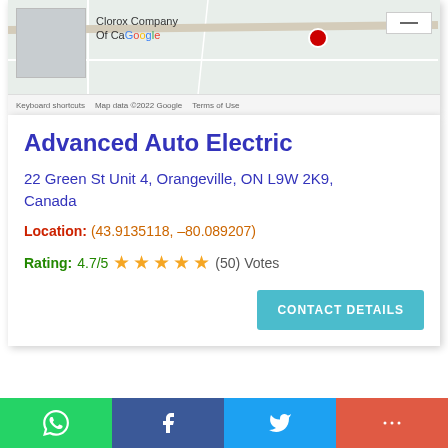[Figure (screenshot): Google Maps partial screenshot showing Clorox Company of Canada location, with map tiles, grey placeholder box, minus button, and footer with Keyboard shortcuts, Map data ©2022 Google, Terms of Use]
Advanced Auto Electric
22 Green St Unit 4, Orangeville, ON L9W 2K9, Canada
Location: (43.9135118, -80.089207)
Rating: 4.7/5 ★★★★★ (50) Votes
CONTACT DETAILS
WhatsApp | Facebook | Twitter | More